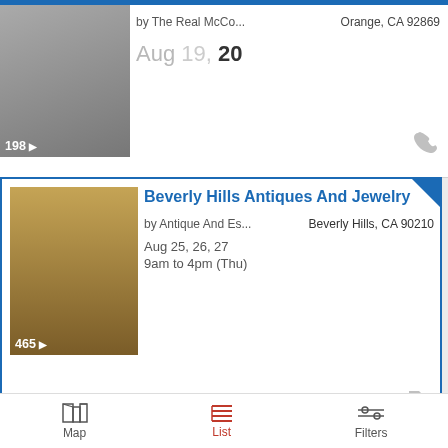[Figure (photo): Partial listing card showing a garment/clothing photo thumbnail with badge '198' and camera icon]
by The Real McCo...
Orange, CA 92869
Aug 19, 20
[Figure (photo): Beverly Hills Antiques And Jewelry listing card with photo of antique furniture and decorative items, thumbnail badge '465']
Beverly Hills Antiques And Jewelry
by Antique And Es...
Beverly Hills, CA 90210
Aug 25, 26, 27
9am to 4pm (Thu)
Regionally Featured Sales
View All Sales →
[Figure (photo): Woodstock Treasures listing card with illustration of a house on tan/kraft paper background, badge '381']
Woodstock Treasures: Vintage EVER...
by Make It Happe...
747 Dona Ct
Woodstock, IL 60098
Aug 18, 19, 20, 21
9am to 3pm (Sun)
[Figure (photo): Ralph Lauren In Naperville partial listing thumbnail]
Ralph Lauren In Naperville
Map    List    Filters